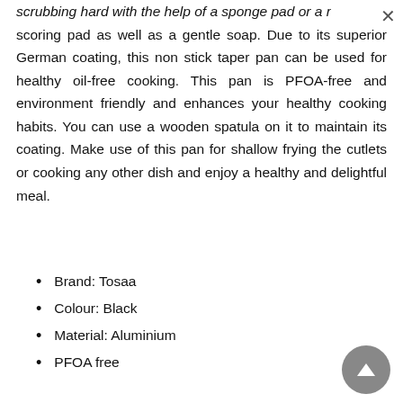scrubbing hard with the help of a sponge pad or a nylon scoring pad as well as a gentle soap. Due to its superior German coating, this non stick taper pan can be used for healthy oil-free cooking. This pan is PFOA-free and environment friendly and enhances your healthy cooking habits. You can use a wooden spatula on it to maintain its coating. Make use of this pan for shallow frying the cutlets or cooking any other dish and enjoy a healthy and delightful meal.
Brand: Tosaa
Colour: Black
Material: Aluminium
PFOA free